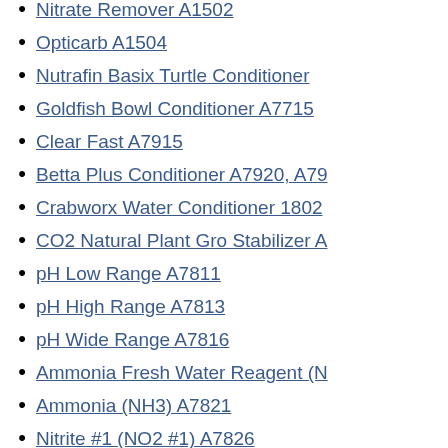Nitrate Remover A1502
Opticarb A1504
Nutrafin Basix Turtle Conditioner
Goldfish Bowl Conditioner A7715
Clear Fast A7915
Betta Plus Conditioner A7920, A79
Crabworx Water Conditioner 1802
CO2 Natural Plant Gro Stabilizer A
pH Low Range A7811
pH High Range A7813
pH Wide Range A7816
Ammonia Fresh Water Reagent (N
Ammonia (NH3) A7821
Nitrite #1 (NO2 #1) A7826
Nitrite #2 (NO2 #2) A7827
Carbonate hard (KH) A7831
Hardness (GH) A7832
Iron #1 (Fe#1) A7836
Iron #2 (Fe#2) A7837
Phosphate #1 (PO4 #1) A7841
Phosphate #2 (PO4 #2) A7842
Phosphate #3 (PO4 #3) A7843
Nitrate #1 (NO3 #1) A7846
Nitrate #2 (NO3 #2) A7847